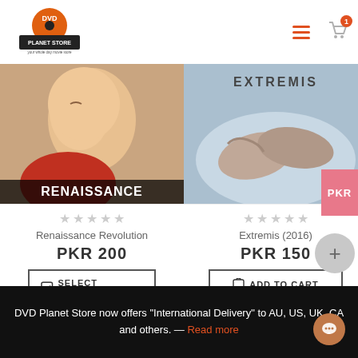[Figure (logo): DVD Planet Store logo - orange disc with DVD text and store name]
[Figure (illustration): Navigation icons: hamburger menu and shopping cart with badge '1']
[Figure (photo): Product image for Renaissance Revolution - baby with text RENAISSANCE at bottom]
★★★★★
Renaissance Revolution
PKR 200
SELECT OPTIONS
[Figure (photo): Product image for Extremis (2016) - hands clasped with EXTREMIS text at top]
★★★★★
Extremis (2016)
PKR 150
ADD TO CART
DVD Planet Store now offers "International Delivery" to AU, US, UK, CA and others. — Read more